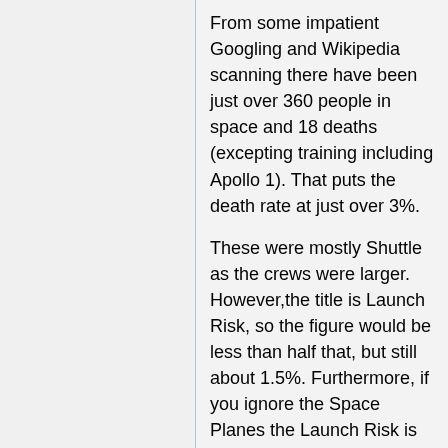From some impatient Googling and Wikipedia scanning there have been just over 360 people in space and 18 deaths (excepting training including Apollo 1). That puts the death rate at just over 3%.
These were mostly Shuttle as the crews were larger. However,the title is Launch Risk, so the figure would be less than half that, but still about 1.5%. Furthermore, if you ignore the Space Planes the Launch Risk is probably very low. RIIW - Ponder it (talk) 19:07, 4 February 2019 (UTC)
Many of those 360 have been in space